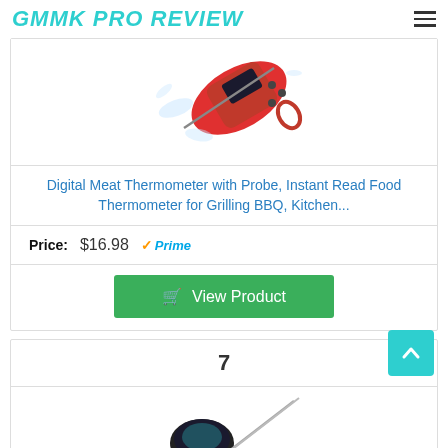GMMK PRO REVIEW
[Figure (photo): Digital meat thermometer with probe, red body, shown with water splash on white background]
Digital Meat Thermometer with Probe, Instant Read Food Thermometer for Grilling BBQ, Kitchen...
Price: $16.98 √Prime
View Product
7
[Figure (photo): Black wireless meat thermometer with metal probe/skewer on white background, partially visible]